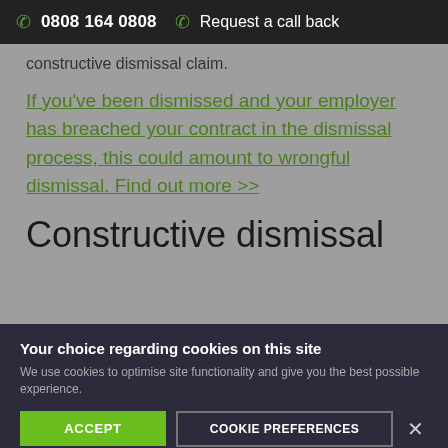0808 164 0808   Request a call back
constructive dismissal claim.
If you've been dismissed and your employer has breached your contract in the dismissal process, this could amount to wrongful dismissal. Find out more >>
Constructive dismissal
Your choice regarding cookies on this site
We use cookies to optimise site functionality and give you the best possible experience.
ACCEPT
COOKIE PREFERENCES